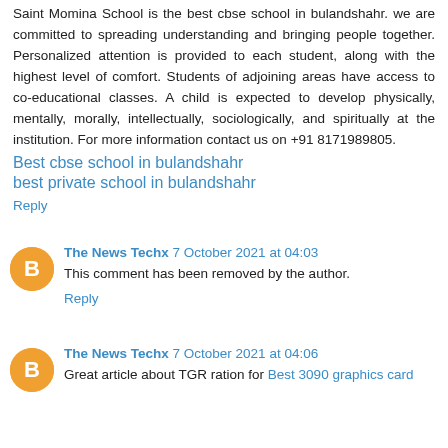Saint Momina School is the best cbse school in bulandshahr. we are committed to spreading understanding and bringing people together. Personalized attention is provided to each student, along with the highest level of comfort. Students of adjoining areas have access to co-educational classes. A child is expected to develop physically, mentally, morally, intellectually, sociologically, and spiritually at the institution. For more information contact us on +91 8171989805.
Best cbse school in bulandshahr
best private school in bulandshahr
Reply
The News Techx 7 October 2021 at 04:03
This comment has been removed by the author.
Reply
The News Techx 7 October 2021 at 04:06
Great article about TGR ration for Best 3090 graphics card